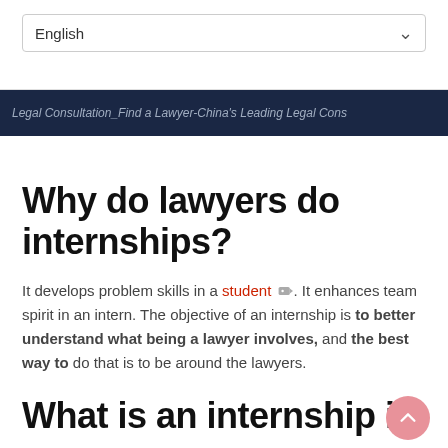English
Legal Consultation_Find a Lawyer-China's Leading Legal Cons
Why do lawyers do internships?
It develops problem skills in a student. It enhances team spirit in an intern. The objective of an internship is to better understand what being a lawyer involves, and the best way to do that is to be around the lawyers.
What is an internship in